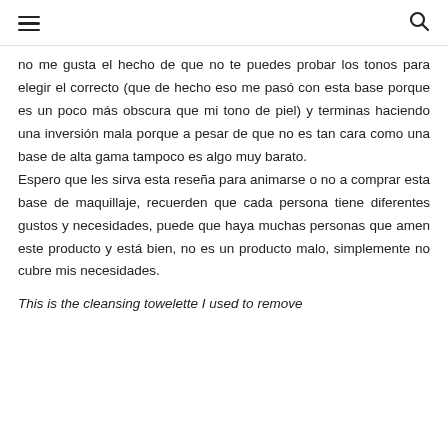≡  🔍
no me gusta el hecho de que no te puedes probar los tonos para elegir el correcto (que de hecho eso me pasó con esta base porque es un poco más obscura que mi tono de piel) y terminas haciendo una inversión mala porque a pesar de que no es tan cara como una base de alta gama tampoco es algo muy barato.
Espero que les sirva esta reseña para animarse o no a comprar esta base de maquillaje, recuerden que cada persona tiene diferentes gustos y necesidades, puede que haya muchas personas que amen este producto y está bien, no es un producto malo, simplemente no cubre mis necesidades.
This is the cleansing towelette I used to remove